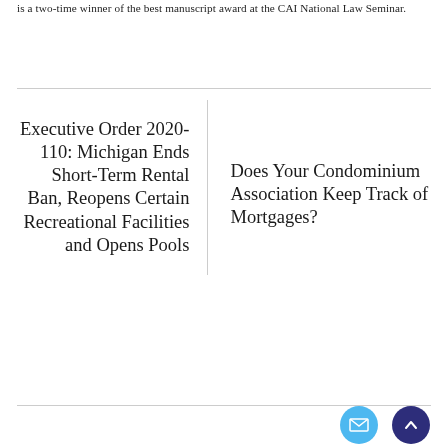is a two-time winner of the best manuscript award at the CAI National Law Seminar.
Executive Order 2020-110: Michigan Ends Short-Term Rental Ban, Reopens Certain Recreational Facilities and Opens Pools
Does Your Condominium Association Keep Track of Mortgages?